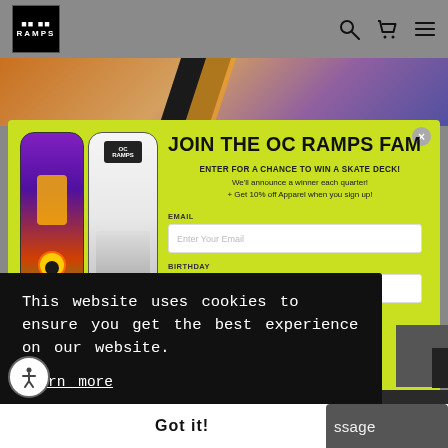[Figure (screenshot): OC Ramps website header with logo, search icon, cart icon, and menu icon on gray background]
[Figure (screenshot): Website banner with skate-themed imagery]
[Figure (screenshot): Popup modal on lime-green background: JOIN THE OC RAMPS FAM - enter for a chance to win a skate deck, email and birthday sign-up fields, with two skateboard deck illustrations]
This website uses cookies to ensure you get the best experience on our website.
Learn more
Got it!
ssage